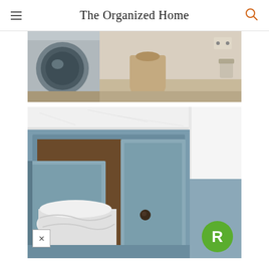The Organized Home
[Figure (photo): Laundry room with front-loading washing machine and a linen laundry bag on the floor]
[Figure (photo): Close-up of a light blue cabinet with white marble countertop, open door revealing laundry inside, with a round dark knob]